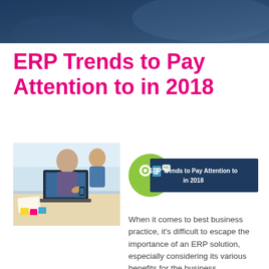[Figure (photo): Dark blue gradient banner header image with a blurred background photo of people working]
ERP Trends to Pay Attention to in 2018
[Figure (photo): Photo of people working around a laptop and documents on a desk]
[Figure (screenshot): Thumbnail image showing ERP software icons on a dark blue banner with a green circle icon, captioned 'ERP Trends to Pay Attention to in 2018']
When it comes to best business practice, it's difficult to escape the importance of an ERP solution, especially considering its various benefits for the business...